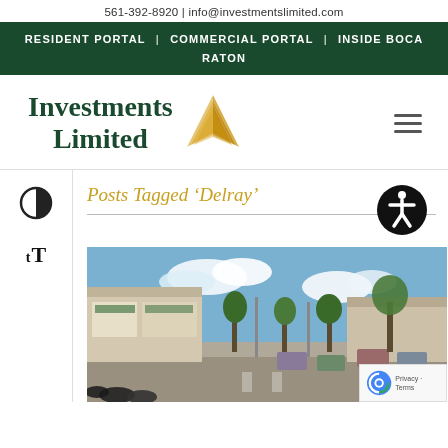561-392-8920 | info@investmentslimited.com
RESIDENT PORTAL | COMMERCIAL PORTAL | INSIDE BOCA RATON
[Figure (logo): Investments Limited logo with gold palm leaf icon and dark green bold serif text]
Posts Tagged 'Delray'
[Figure (photo): Outdoor photo of a commercial strip mall/shopping center with storefronts, parked cars, trees, and blue sky with clouds — appears to be a Florida retail/auto center.]